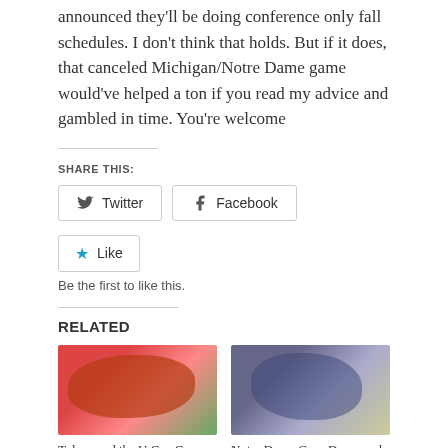announced they'll be doing conference only fall schedules.  I don't think that holds.  But if it does, that canceled Michigan/Notre Dame game would've helped a ton if you read my advice and gambled in time. You're welcome
SHARE THIS:
Twitter
Facebook
Like
Be the first to like this.
RELATED
[Figure (photo): College football players in orange uniforms running onto the field]
Tulane and the U Can Carry Today's College
[Figure (photo): Notre Dame football player sitting on bench with coaches]
Notre Dame Goes Down and You Gotta Feel for